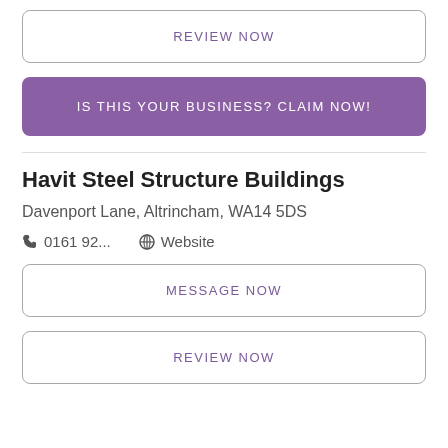REVIEW NOW
IS THIS YOUR BUSINESS? CLAIM NOW!
Havit Steel Structure Buildings
Davenport Lane, Altrincham, WA14 5DS
0161 92...   Website
MESSAGE NOW
REVIEW NOW